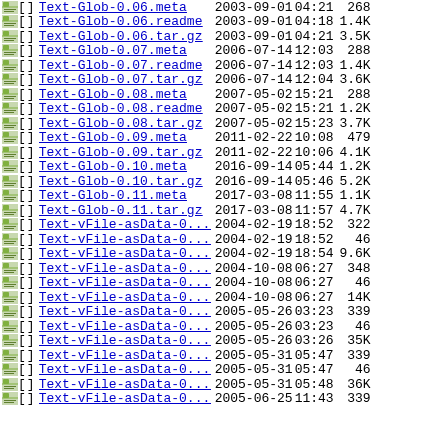[ ] Text-Glob-0.06.meta 2003-09-01 04:21 268
[ ] Text-Glob-0.06.readme 2003-09-01 04:18 1.4K
[ ] Text-Glob-0.06.tar.gz 2003-09-01 04:21 3.5K
[ ] Text-Glob-0.07.meta 2006-07-14 12:03 288
[ ] Text-Glob-0.07.readme 2006-07-14 12:03 1.4K
[ ] Text-Glob-0.07.tar.gz 2006-07-14 12:04 3.6K
[ ] Text-Glob-0.08.meta 2007-05-02 15:21 288
[ ] Text-Glob-0.08.readme 2007-05-02 15:21 1.2K
[ ] Text-Glob-0.08.tar.gz 2007-05-02 15:23 3.7K
[ ] Text-Glob-0.09.meta 2011-02-22 10:08 479
[ ] Text-Glob-0.09.tar.gz 2011-02-22 10:06 4.1K
[ ] Text-Glob-0.10.meta 2016-09-14 05:44 1.2K
[ ] Text-Glob-0.10.tar.gz 2016-09-14 05:46 5.2K
[ ] Text-Glob-0.11.meta 2017-03-08 11:55 1.1K
[ ] Text-Glob-0.11.tar.gz 2017-03-08 11:57 4.7K
[ ] Text-vFile-asData-0...> 2004-02-19 18:52 322
[ ] Text-vFile-asData-0...> 2004-02-19 18:52 46
[ ] Text-vFile-asData-0...> 2004-02-19 18:54 9.6K
[ ] Text-vFile-asData-0...> 2004-10-08 06:27 348
[ ] Text-vFile-asData-0...> 2004-10-08 06:27 46
[ ] Text-vFile-asData-0...> 2004-10-08 06:27 14K
[ ] Text-vFile-asData-0...> 2005-05-26 03:23 339
[ ] Text-vFile-asData-0...> 2005-05-26 03:23 46
[ ] Text-vFile-asData-0...> 2005-05-26 03:26 35K
[ ] Text-vFile-asData-0...> 2005-05-31 05:47 339
[ ] Text-vFile-asData-0...> 2005-05-31 05:47 46
[ ] Text-vFile-asData-0...> 2005-05-31 05:48 36K
[ ] Text-vFile-asData-0...> 2005-06-25 11:43 339